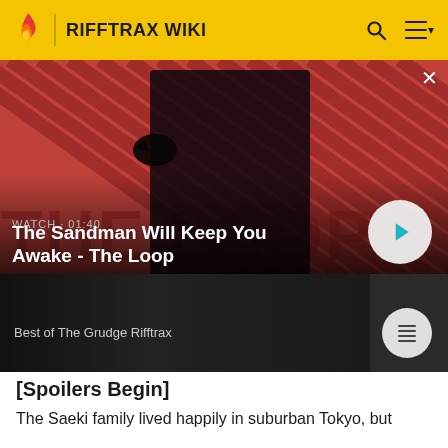RIFFTRAX WIKI
[Figure (screenshot): Hero video thumbnail showing a pale dark-haired man in black with a raven on his shoulder, diagonal red and dark striped background. Overlay text: WATCH · 01:40 and title The Sandman Will Keep You Awake - The Loop. Play button on right. Below: thumbnail panel showing 'Best of The Grudge Rifftrax' with a list icon button.]
[Spoilers Begin]
The Saeki family lived happily in suburban Tokyo, but